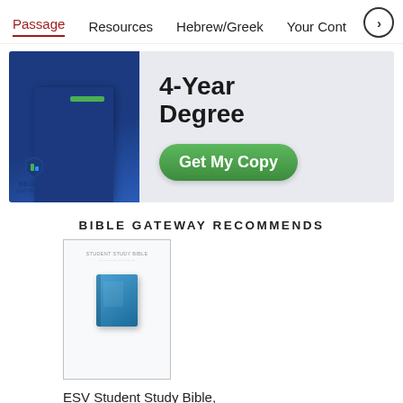Passage  Resources  Hebrew/Greek  Your Cont
[Figure (advertisement): Regent University advertisement for a 4-Year Degree with a 'Get My Copy' green button and book graphic]
BIBLE GATEWAY RECOMMENDS
[Figure (photo): Book cover of ESV Student Study Bible, TruTone, Sky Blue with Ivy]
ESV Student Study Bible, TruTone, Sky Blue with Ivy